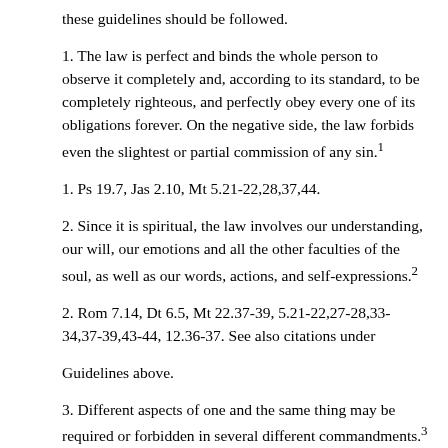these guidelines should be followed.
1. The law is perfect and binds the whole person to observe it completely and, according to its standard, to be completely righteous, and perfectly obey every one of its obligations forever. On the negative side, the law forbids even the slightest or partial commission of any sin.1
1. Ps 19.7, Jas 2.10, Mt 5.21-22,28,37,44.
2. Since it is spiritual, the law involves our understanding, our will, our emotions and all the other faculties of the soul, as well as our words, actions, and self-expressions.2
2. Rom 7.14, Dt 6.5, Mt 22.37-39, 5.21-22,27-28,33-34,37-39,43-44, 12.36-37. See also citations under
Guidelines above.
3. Different aspects of one and the same thing may be required or forbidden in several different commandments.3